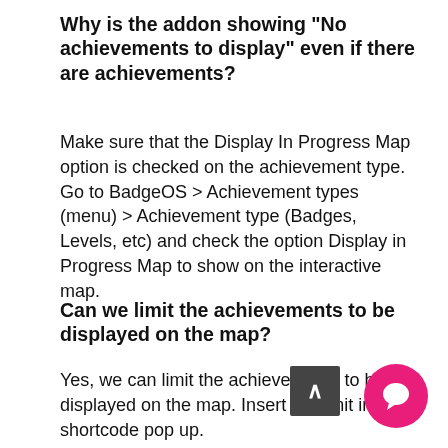Why is the addon showing “No achievements to display” even if there are achievements?
Make sure that the Display In Progress Map option is checked on the achievement type. Go to BadgeOS > Achievement types (menu) > Achievement type (Badges, Levels, etc) and check the option Display in Progress Map to show on the interactive map.
Can we limit the achievements to be displayed on the map?
Yes, we can limit the achievements to be displayed on the map. Insert the limit in the shortcode pop up.
How to show all achievement, completed